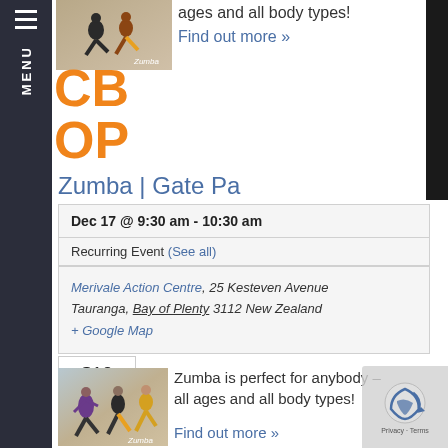[Figure (photo): Zumba dance class photo at top of page]
ages and all body types!
Find out more »
[Figure (logo): CBOP logo in orange letters]
Zumba | Gate Pa
Dec 17 @ 9:30 am - 10:30 am
Recurring Event (See all)
Merivale Action Centre, 25 Kesteven Avenue Tauranga, Bay of Plenty 3112 New Zealand
+ Google Map
$10
[Figure (photo): Zumba dance class photo at bottom of page]
Zumba is perfect for anybody – all ages and all body types!
Find out more »